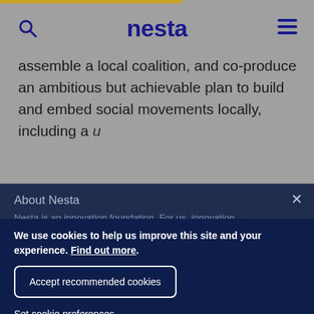nesta
assemble a local coalition, and co-produce an ambitious but achievable plan to build and embed social movements locally, including a u[sing the] ural Insight Framework.
About Nesta
Nesta is an innovation foundation. For us, innovation
We use cookies to help us improve this site and your experience. Find out more.
Accept recommended cookies
Set cookie preferences